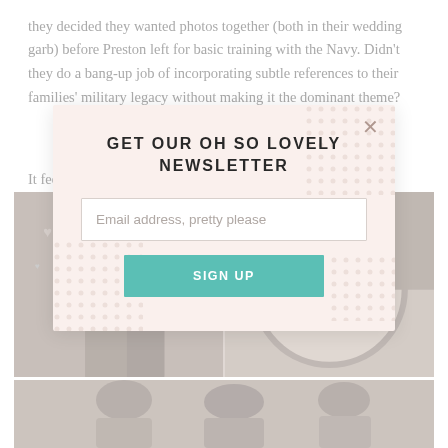they decided they wanted photos together (both in their wedding garb) before Preston left for basic training with the Navy. Didn't they do a bang-up job of incorporating subtle references to their families' military legacy without making it the dominant theme?
It feels... hubby...
[Figure (screenshot): Newsletter signup modal overlay with pink/blush background. Title: GET OUR OH SO LOVELY NEWSLETTER. Email input field with placeholder 'Email address, pretty please'. Teal SIGN UP button. X close button. Decorative dot patterns in corners.]
[Figure (photo): Two side-by-side desaturated/faded photos. Left photo shows a couple kissing or embracing. Right photo shows what appears to be an embroidery hoop with 'I love you' text. Below is another partial photo strip showing people.]